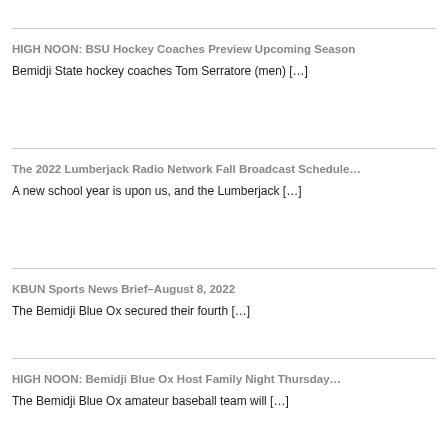HIGH NOON: BSU Hockey Coaches Preview Upcoming Season
Bemidji State hockey coaches Tom Serratore (men) […]
The 2022 Lumberjack Radio Network Fall Broadcast Schedule…
A new school year is upon us, and the Lumberjack […]
KBUN Sports News Brief–August 8, 2022
The Bemidji Blue Ox secured their fourth […]
HIGH NOON: Bemidji Blue Ox Host Family Night Thursday…
The Bemidji Blue Ox amateur baseball team will […]